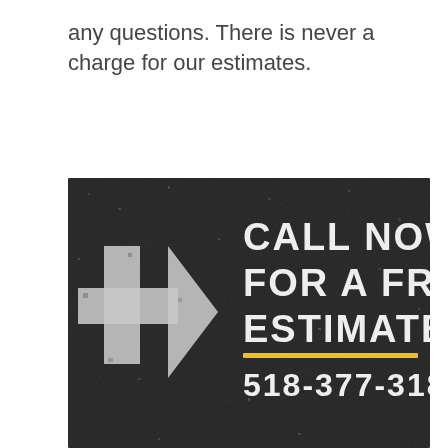any questions. There is never a charge for our estimates.
[Figure (photo): Advertisement sign painted on asphalt surface with a white arrow pointing right, text reading 'CALL NOW FOR A FREE ESTIMATE' in white distressed stencil font, a yellow horizontal line, and phone number '518-377-3186' in white distressed stencil font.]